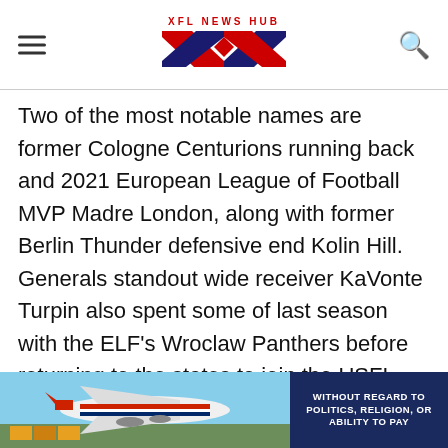XFL NEWS HUB
Two of the most notable names are former Cologne Centurions running back and 2021 European League of Football MVP Madre London, along with former Berlin Thunder defensive end Kolin Hill. Generals standout wide receiver KaVonte Turpin also spent some of last season with the ELF's Wroclaw Panthers before returning to the states to join the USFL. While the players listed are all Americans and did play in the NCAA, they rejuvenated their careers in the European League of Football and were given
[Figure (photo): Advertisement banner showing a cargo airplane with American flag livery on the left, and a dark blue panel on the right with text 'WITHOUT REGARD TO POLITICS, RELIGION, OR ABILITY TO PAY']